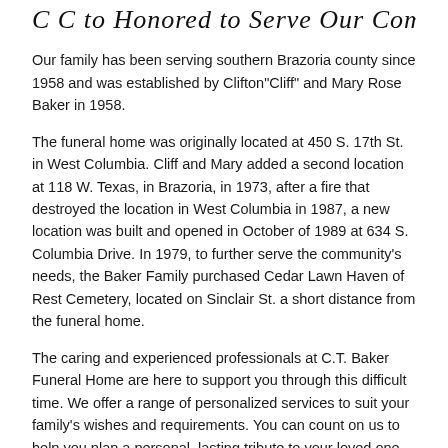C C to Honored to Serve Our Community
Our family has been serving southern Brazoria county since 1958 and was established by Clifton"Cliff" and Mary Rose Baker in 1958.
The funeral home was originally located at 450 S. 17th St. in West Columbia. Cliff and Mary added a second location at 118 W. Texas, in Brazoria, in 1973, after a fire that destroyed the location in West Columbia in 1987, a new location was built and opened in October of 1989 at 634 S. Columbia Drive. In 1979, to further serve the community's needs, the Baker Family purchased Cedar Lawn Haven of Rest Cemetery, located on Sinclair St. a short distance from the funeral home.
The caring and experienced professionals at C.T. Baker Funeral Home are here to support you through this difficult time. We offer a range of personalized services to suit your family's wishes and requirements. You can count on us to help you plan a personal, lasting tribute to your loved one. And we'll carefully guide you through the many decisions that must be